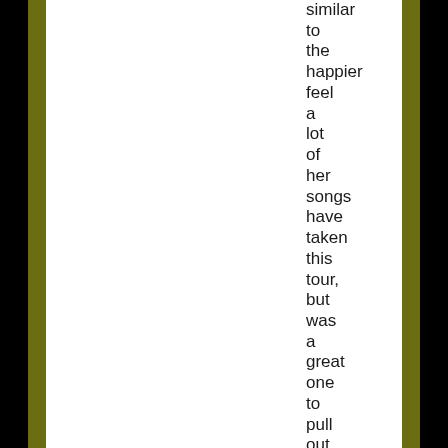similar to the happier feel a lot of her songs have taken this tour, but was a great one to pull out for Lizard Lounge.

I was pleasantly